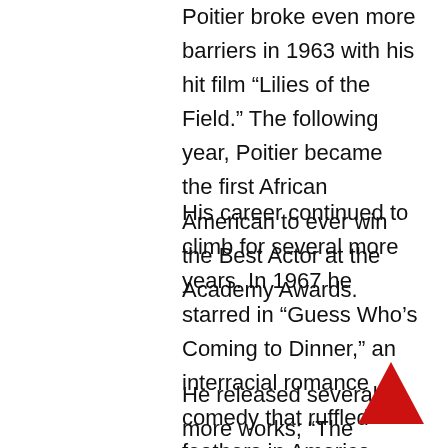Poitier broke even more barriers in 1963 with his hit film “Lilies of the Field.” The following year, Poitier became the first African American to ever win the Best Actor at the Academy Awards.
His career continued to climb for several more years. In 1967 he starred in “Guess Who’s Coming to Dinner,” an interracial romance comedy that ruffled feathers in America. Then came other memorable films, “They Call Me Mister Tibbs,” the sequel to the controversial blockbuster “In the Heat of the Night,” and “Uptown Saturday Night” opposite Cosby.
He released several more works; “The Measure of a Man: A Spiritual Autobiography
[Figure (illustration): A solid red upward-pointing triangle in the bottom-right corner of the page.]